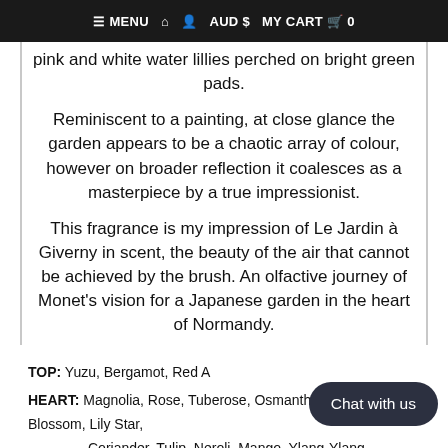≡ MENU  🏠  👤  AUD $  MY CART 🛒 0
pink and white water lillies perched on bright green pads.

Reminiscent to a painting, at close glance the garden appears to be a chaotic array of colour, however on broader reflection it coalesces as a masterpiece by a true impressionist.

This fragrance is my impression of Le Jardin à Giverny in scent, the beauty of the air that cannot be achieved by the brush. An olfactive journey of Monet's vision for a Japanese garden in the heart of Normandy.
TOP: Yuzu, Bergamot, Red A...
HEART: Magnolia, Rose, Tuberose, Osmanthus, Orange Blossom, Lily, Star, Coriander, Tulip, Neroli, Mango, Ylang-Ylang